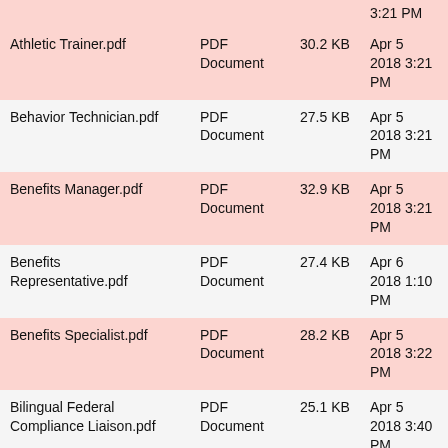| Name | Type | Size | Date Modified |
| --- | --- | --- | --- |
|  |  |  | 3:21 PM |
| Athletic Trainer.pdf | PDF Document | 30.2 KB | Apr 5 2018 3:21 PM |
| Behavior Technician.pdf | PDF Document | 27.5 KB | Apr 5 2018 3:21 PM |
| Benefits Manager.pdf | PDF Document | 32.9 KB | Apr 5 2018 3:21 PM |
| Benefits Representative.pdf | PDF Document | 27.4 KB | Apr 6 2018 1:10 PM |
| Benefits Specialist.pdf | PDF Document | 28.2 KB | Apr 5 2018 3:22 PM |
| Bilingual Federal Compliance Liaison.pdf | PDF Document | 25.1 KB | Apr 5 2018 3:40 PM |
| Building Engineer - UMAC Event Office.pdf | PDF Document | 28 KB | Apr 5 2018 3:40 PM |
| Building Engineer-.pdf | PDF | 29.1 | Apr 5 2018 |